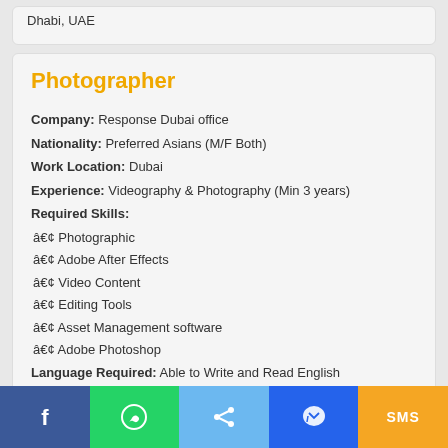Dhabi, UAE
Photographer
Company: Response Dubai office
Nationality: Preferred Asians (M/F Both)
Work Location: Dubai
Experience: Videography & Photography (Min 3 years)
Required Skills:
• Photographic
• Adobe After Effects
• Video Content
• Editing Tools
• Asset Management software
• Adobe Photoshop
Language Required: Able to Write and Read English
Walk-In-Interview Time and Date
Date: 12th February 2022 (Saturday)
[Figure (other): Social sharing bottom bar with Facebook, WhatsApp, Share, Messenger, and SMS icons]